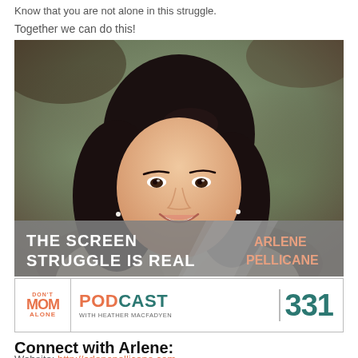Know that you are not alone in this struggle.
Together we can do this!
[Figure (photo): Portrait photo of Arlene Pellicane, a smiling Asian woman with dark wavy hair, overlaid at the bottom with gray banner text 'THE SCREEN STRUGGLE IS REAL' and salmon-colored text 'ARLENE PELLICANE']
[Figure (logo): Don't Mom Alone Podcast with Heather MacFadyen banner logo, episode number 331]
Connect with Arlene:
Website: http://arlenepellicane.com